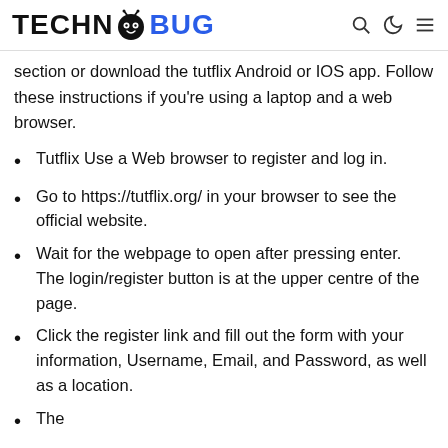TECHNOBUG
section or download the tutflix Android or IOS app. Follow these instructions if you're using a laptop and a web browser.
Tutflix Use a Web browser to register and log in.
Go to https://tutflix.org/ in your browser to see the official website.
Wait for the webpage to open after pressing enter. The login/register button is at the upper centre of the page.
Click the register link and fill out the form with your information, Username, Email, and Password, as well as a location.
Then...